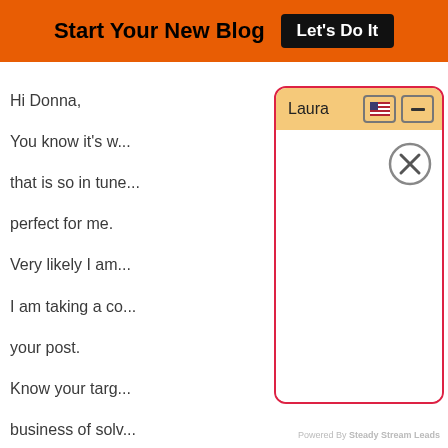Start Your New Blog | Let's Do It
Hi Donna,
You know it's w... that is so in tune... perfect for me.
Very likely I am...
I am taking a co... your post.
Know your targ... business of solv...
Check out comp... problems.
Look at the full...
Give your slant... stand out in a cr...
My solutions ca... offer an affordal...
Finding ways to... than my compet...
This is how you can position yourself as a standout authority in your niche and this is how to find people interested in what you do
[Figure (screenshot): A popup widget labeled 'Laura' with a peach/orange header bar, US flag icon, minimize button, and a close (X) circle button. The popup has a white body area and a red border.]
Powered By Steady Stream Leads